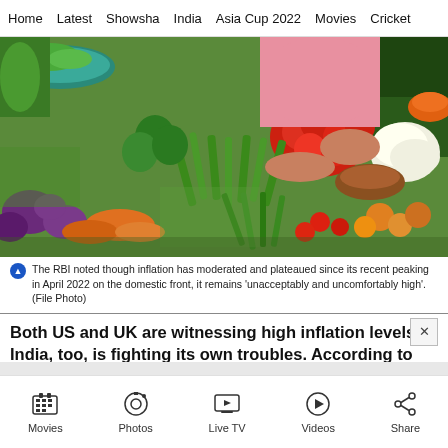Home   Latest   Showsha   India   Asia Cup 2022   Movies   Cricket
[Figure (photo): A vendor at an Indian vegetable market with colorful produce including tomatoes, carrots, eggplant, cauliflower, green beans, and other vegetables. A person in a pink top is reaching over the display.]
The RBI noted though inflation has moderated and plateaued since its recent peaking in April 2022 on the domestic front, it remains 'unacceptably and uncomfortably high'. (File Photo)
Both US and UK are witnessing high inflation levels. India, too, is fighting its own troubles. According to RBI, the challenge is to guide inflation to pre-targeted 4%. However, that would be far from easy. This is due to th
Movies   Photos   Live TV   Videos   Share